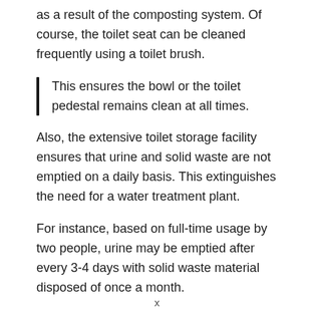as a result of the composting system. Of course, the toilet seat can be cleaned frequently using a toilet brush.
This ensures the bowl or the toilet pedestal remains clean at all times.
Also, the extensive toilet storage facility ensures that urine and solid waste are not emptied on a daily basis. This extinguishes the need for a water treatment plant.
For instance, based on full-time usage by two people, urine may be emptied after every 3-4 days with solid waste material disposed of once a month.
x